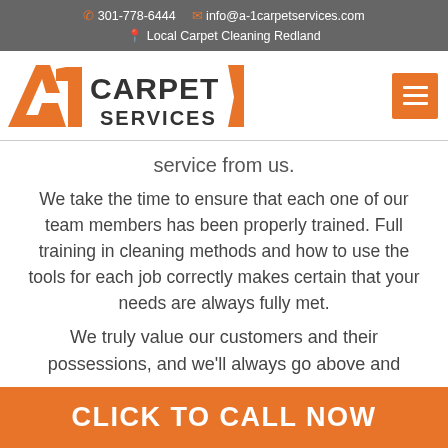301-778-6444  info@a-1carpetservices.com  Local Carpet Cleaning Redland
[Figure (logo): A1 Carpet Services logo with orange stylized A1 and gray CARPET SERVICES text, plus orange hamburger menu button on right]
service from us.
We take the time to ensure that each one of our team members has been properly trained. Full training in cleaning methods and how to use the tools for each job correctly makes certain that your needs are always fully met.
We truly value our customers and their possessions, and we'll always go above and
CLICK TO CALL NOW